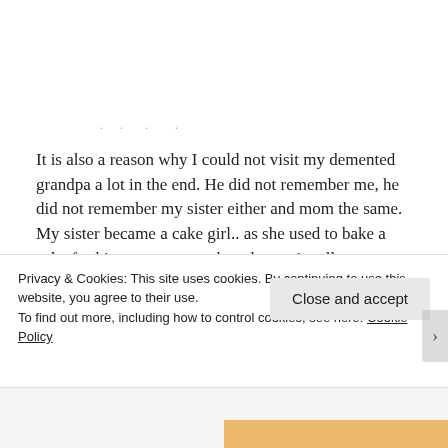. . . . .
It is also a reason why I could not visit my demented grandpa a lot in the end. He did not remember me, he did not remember my sister either and mom the same. My sister became a cake girl.. as she used to bake a cake for him, mom remembered occasionally or otherwise he would call her nurse. Grandpa would try to make him remember me over and over again when we would visit and he like “you remember
Privacy & Cookies: This site uses cookies. By continuing to use this website, you agree to their use.
To find out more, including how to control cookies, see here: Cookie Policy
Close and accept